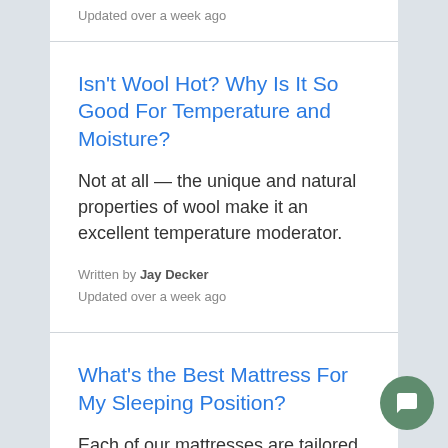Updated over a week ago
Isn't Wool Hot? Why Is It So Good For Temperature and Moisture?
Not at all — the unique and natural properties of wool make it an excellent temperature moderator.
Written by Jay Decker
Updated over a week ago
What's the Best Mattress For My Sleeping Position?
Each of our mattresses are tailored to how you sleep. This guide will help determine which is best for you.
Written by Jay Decker
Updated over a week ago